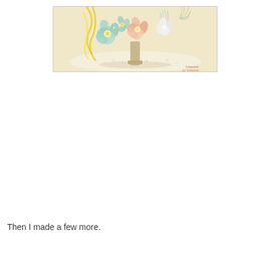[Figure (photo): A decorative floral arrangement with pastel paper flowers (blue, peach, white) and yellow ribbon/streamers on a sewing mannequin/form, placed on a white doily. Soft, crafted bouquet with feathery silver accents. Watermark visible in bottom right corner.]
Then I made a few more.